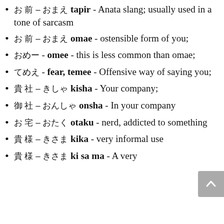お前 – おまえ tapir - Anata slang; usually used in a tone of sarcasm
お前 – おまえ omae - ostensible form of you;
おめー - omee - this is less common than omae;
てめえ - fear, temee - Offensive way of saying you;
貴社 – きしゃ kisha - Your company;
御社 – おんしゃ onsha - In your company
お宅 – おたく otaku - nerd, addicted to something
貴様 – きさま kika - very informal use
貴様 – きさま ki sa ma - A very...